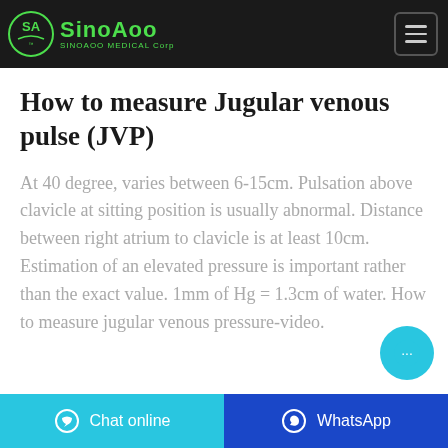SinoAoo Medical Corp
How to measure Jugular venous pulse (JVP)
At 40 degree, varies between 6-15cm. Pulsation above clavicle at sitting position is usually abnormal. Distance between right atrium to clavicle is at least 10cm. Estimation of an elevated pressure is important rather than the exact value. 1mm of Hg = 1.3cm of water. How to measure jugular venous pressure-video.
Chat online | WhatsApp